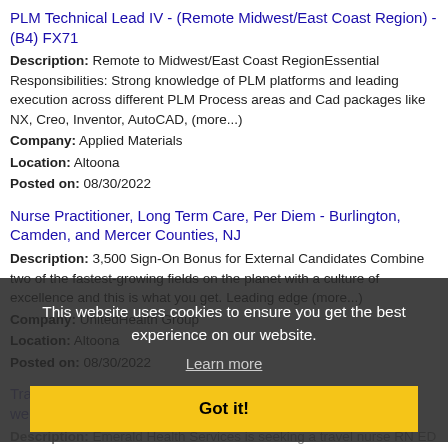PLM Technical Lead IV - (Remote Midwest/East Coast Region) - (B4) FX71
Description: Remote to Midwest/East Coast RegionEssential Responsibilities: Strong knowledge of PLM platforms and leading execution across different PLM Process areas and Cad packages like NX, Creo, Inventor, AutoCAD, (more...)
Company: Applied Materials
Location: Altoona
Posted on: 08/30/2022
Nurse Practitioner, Long Term Care, Per Diem - Burlington, Camden, and Mercer Counties, NJ
Description: 3,500 Sign-On Bonus for External Candidates Combine two of the fastest-growing fields on the planet with a culture of excellence and this is what you get. Leading edge (more...)
Company: UnitedHealth Group
Location: Altoona
Posted on: 08/30/2022
Travel Nurse RN - ED - Emergency Department - $3,475 per week
Description: Emerald Health Services is seeking a travel nurse RN ED - Emergency Department for a travel nursing job in Altoona